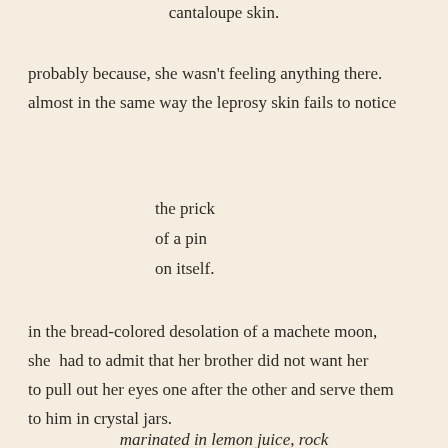cantaloupe skin.
probably because, she wasn't feeling anything there.
almost in the same way the leprosy skin fails to notice
the prick
of a pin
on itself.
in the bread-colored desolation of a machete moon,
she  had to admit that her brother did not want her
to pull out her eyes one after the other and serve them
to him in crystal jars.
marinated in lemon juice, rock